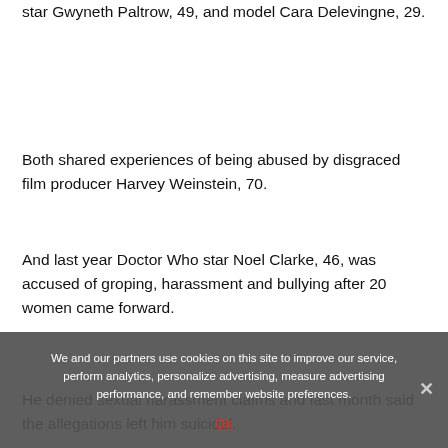star Gwyneth Paltrow, 49, and model Cara Delevingne, 29.
Both shared experiences of being abused by disgraced film producer Harvey Weinstein, 70.
And last year Doctor Who star Noel Clarke, 46, was accused of groping, harassment and bullying after 20 women came forward.
He denied sexual harassment claims and last month said the allegations left him suicidal.
We and our partners use cookies on this site to improve our service, perform analytics, personalize advertising, measure advertising performance, and remember website preferences.
Ok